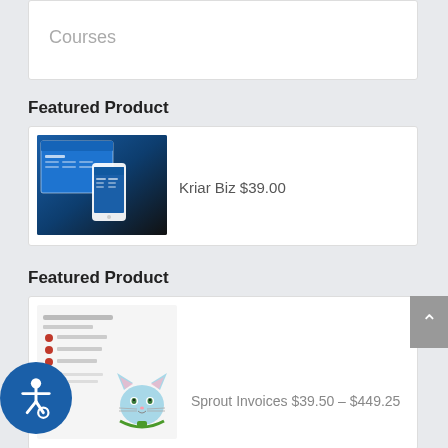Courses
Featured Product
[Figure (screenshot): Screenshot of Kriar Biz website/app on desktop and mobile]
Kriar Biz $39.00
Featured Product
[Figure (screenshot): Screenshot of Sprout Invoices plugin interface with a cat mascot]
Sprout Invoices $39.50 – $449.25